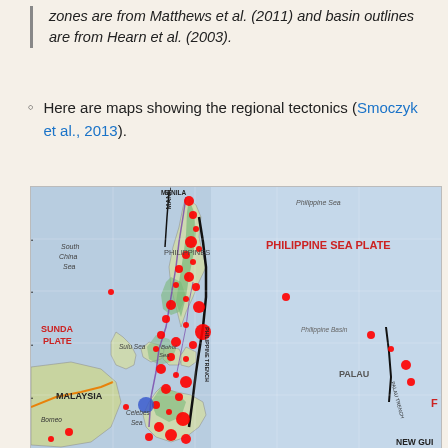zones are from Matthews et al. (2011) and basin outlines are from Hearn et al. (2003).
Here are maps showing the regional tectonics (Smoczyk et al., 2013).
[Figure (map): Regional tectonic map of the Philippines and surrounding area showing the Philippine Sea Plate, Sunda Plate, Malaysia, Palau, and surrounding seas (South China Sea, Sulu Sea, Celebes Sea). Red and blue dots indicate seismic or geological features. Major features labeled include MANILA, PHILIPPINE TRENCH, PALAU TRENCH, PHILIPPINE SEA PLATE, SUNDA PLATE, MALAYSIA, PALAU. Reference: Smoczyk et al., 2013.]